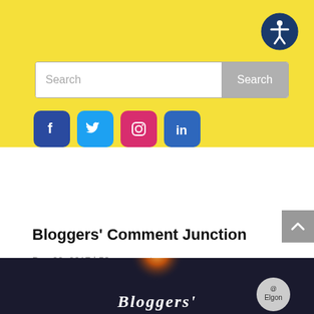[Figure (screenshot): Yellow header section with accessibility icon button, search bar, and social media icons for Facebook, Twitter, Instagram, LinkedIn]
Bloggers’ Comment Junction
Dec 20, 2017 | 53 comments
[Figure (photo): Dark banner image with bokeh flame light effect and italic text 'Bloggers'' with an Elgon logo badge on the right]